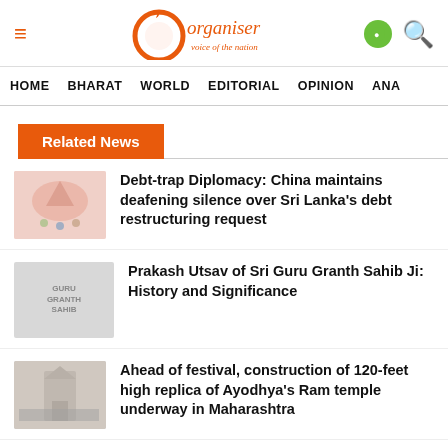Organiser — voice of the nation
HOME  BHARAT  WORLD  EDITORIAL  OPINION  ANA
Related News
Debt-trap Diplomacy: China maintains deafening silence over Sri Lanka's debt restructuring request
Prakash Utsav of Sri Guru Granth Sahib Ji: History and Significance
Ahead of festival, construction of 120-feet high replica of Ayodhya's Ram temple underway in Maharashtra
India lashes out at Chinese Ambassador's